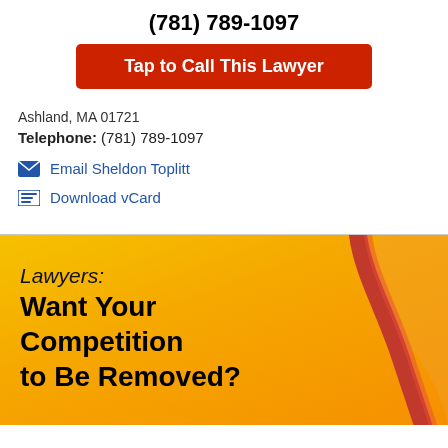(781) 789-1097
Tap to Call This Lawyer
Ashland, MA 01721
Telephone: (781) 789-1097
Email Sheldon Toplitt
Download vCard
[Figure (illustration): Yellow/orange gradient background with a red curved swoosh graphic on the right side, containing promotional text for lawyers]
Lawyers:
Want Your Competition to Be Removed?